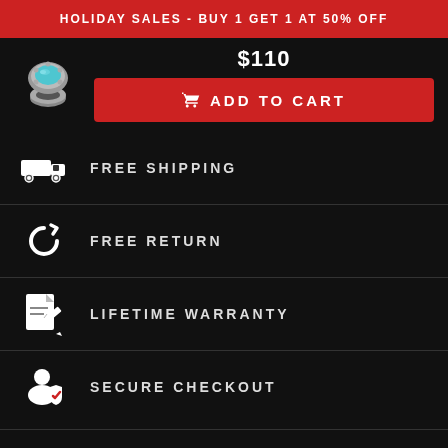HOLIDAY SALES - BUY 1 GET 1 AT 50% OFF
$110
ADD TO CART
FREE SHIPPING
FREE RETURN
LIFETIME WARRANTY
SECURE CHECKOUT
NEWSLETTER